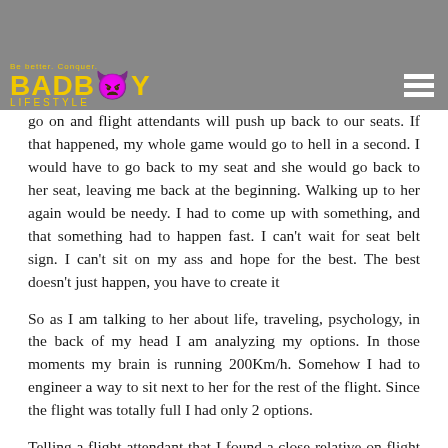[Figure (logo): BadBoy Lifestyle logo with yellow devil horns text on grey background, and hamburger menu icon on right]
go on and flight attendants will push up back to our seats. If that happened, my whole game would go to hell in a second. I would have to go back to my seat and she would go back to her seat, leaving me back at the beginning. Walking up to her again would be needy. I had to come up with something, and that something had to happen fast. I can't wait for seat belt sign. I can't sit on my ass and hope for the best. The best doesn't just happen, you have to create it
So as I am talking to her about life, traveling, psychology, in the back of my head I am analyzing my options. In those moments my brain is running 200Km/h. Somehow I had to engineer a way to sit next to her for the rest of the flight. Since the flight was totally full I had only 2 options.
Telling a flight attendant that I found a close relative on flight and that we would like to sit together, and